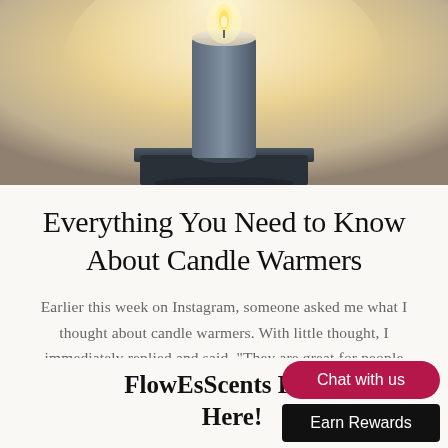[Figure (photo): Candle warmer device with a candle on top, warm ambient lighting, dark metallic base, photographed from a slightly elevated angle]
Everything You Need to Know About Candle Warmers
Earlier this week on Instagram, someone asked me what I thought about candle warmers. With little thought, I immediately replied and said, "They are great for people who...
FlowEsScents Fall S Here!
Chat with us
Earn Rewards